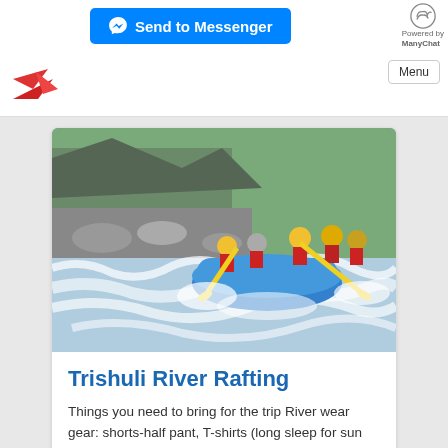Send to Messenger | Powered by ManyChat
[Figure (logo): Travel company logo with red bird/wing icon on white navigation bar]
[Figure (photo): Group of people white-water rafting in a blue inflatable raft on a turbulent river with rocky banks and green hills in background]
Trishuli River Rafting
Things you need to bring for the trip River wear gear: shorts-half pant, T-shirts (long sleep for sun protection), swim wear, Sun Cap/Glass/Cream